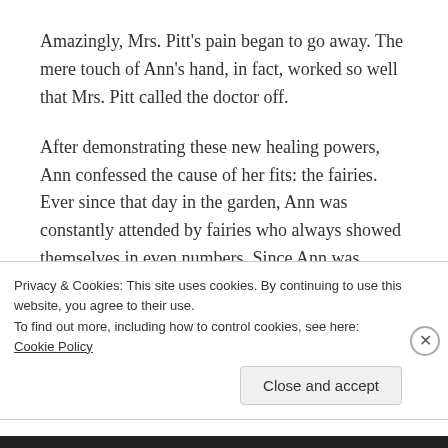Amazingly, Mrs. Pitt's pain began to go away. The mere touch of Ann's hand, in fact, worked so well that Mrs. Pitt called the doctor off.
After demonstrating these new healing powers, Ann confessed the cause of her fits: the fairies. Ever since that day in the garden, Ann was constantly attended by fairies who always showed themselves in even numbers. Since Ann was forced out of the house against her will, six of the fairies decided to teach Mrs. Pitt a lesson, deliberately causing her to trip.( Evidently, Mrs. Pitt was
Privacy & Cookies: This site uses cookies. By continuing to use this website, you agree to their use.
To find out more, including how to control cookies, see here: Cookie Policy
Close and accept